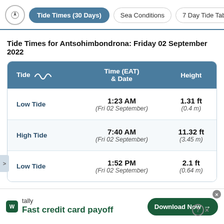Tide Times (30 Days) | Sea Conditions | 7 Day Tide Tab
Tide Times for Antsohimbondrona: Friday 02 September 2022
| Tide | Time (EAT) & Date | Height |
| --- | --- | --- |
| Low Tide | 1:23 AM (Fri 02 September) | 1.31 ft (0.4 m) |
| High Tide | 7:40 AM (Fri 02 September) | 11.32 ft (3.45 m) |
| Low Tide | 1:52 PM (Fri 02 September) | 2.1 ft (0.64 m) |
tally — Fast credit card payoff — Download Now